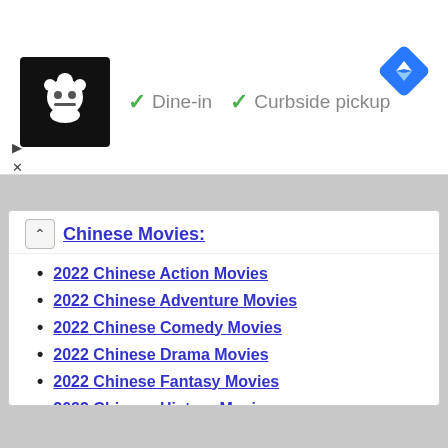[Figure (screenshot): Advertisement banner showing a restaurant logo (chef icon on black background), green checkmarks with text 'Dine-in' and 'Curbside pickup', and a blue navigation diamond icon]
Chinese Movies:
2022 Chinese Action Movies
2022 Chinese Adventure Movies
2022 Chinese Comedy Movies
2022 Chinese Drama Movies
2022 Chinese Fantasy Movies
2022 Chinese History Movies
2022 Chinese Horror Movies
2022 Chinese Mystery Movies
2022 Chinese Romance Movies
2022 Chinese Sci-Fi Movies
2022 Chinese Thriller Movies
2022 Chinese War Movies